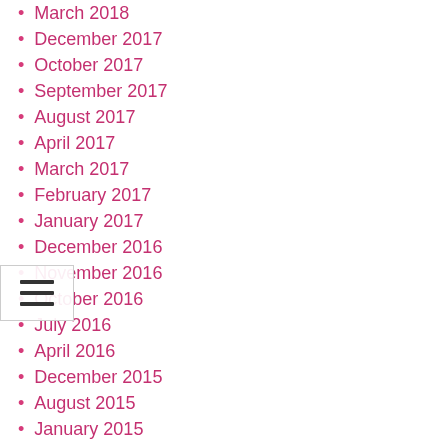March 2018
December 2017
October 2017
September 2017
August 2017
April 2017
March 2017
February 2017
January 2017
December 2016
November 2016
October 2016
July 2016
April 2016
December 2015
August 2015
January 2015
June 2014
April 2014